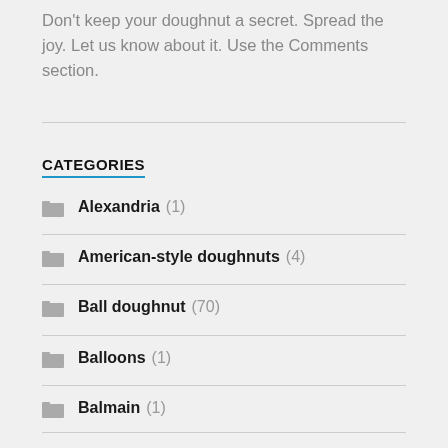Don't keep your doughnut a secret. Spread the joy. Let us know about it. Use the Comments section.
CATEGORIES
Alexandria (1)
American-style doughnuts (4)
Ball doughnut (70)
Balloons (1)
Balmain (1)
Barangaroo (2)